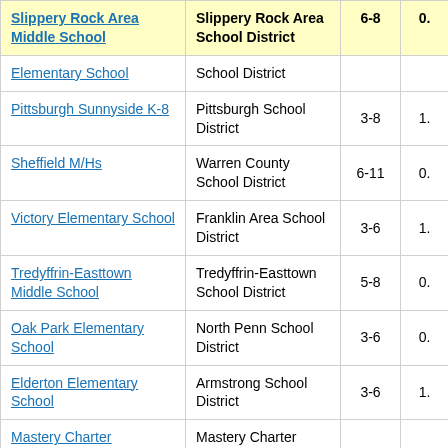| School | District | Grades |  |
| --- | --- | --- | --- |
| Slippery Rock Area Middle School | Slippery Rock Area School District | 6-8 | 0. |
| Elementary School | School District |  |  |
| Pittsburgh Sunnyside K-8 | Pittsburgh School District | 3-8 | 1. |
| Sheffield M/Hs | Warren County School District | 6-11 | 0. |
| Victory Elementary School | Franklin Area School District | 3-6 | 1. |
| Tredyffrin-Easttown Middle School | Tredyffrin-Easttown School District | 5-8 | 0. |
| Oak Park Elementary School | North Penn School District | 3-6 | 0. |
| Elderton Elementary School | Armstrong School District | 3-6 | 1. |
| Mastery Charter | Mastery Charter |  |  |